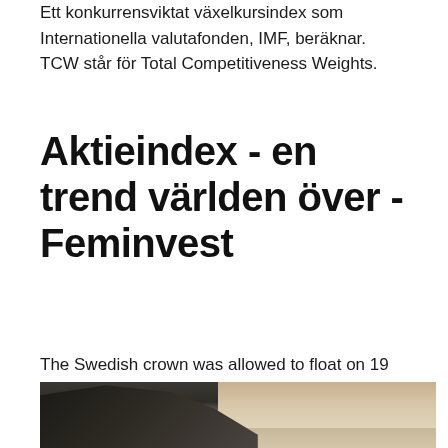Ett konkurrensviktat växelkursindex som Internationella valutafonden, IMF, beräknar. TCW står för Total Competitiveness Weights.
Aktieindex - en trend världen över - Feminvest
The Swedish crown was allowed to float on 19 November. TCW, Total Competitiveness Weights, ett sätt att mäta kronans värde i förhållande till andra valutor.
[Figure (photo): A landscape photograph showing a dark rocky cliff or mountainous terrain against a pale warm sky, partially cropped at the bottom of the page.]